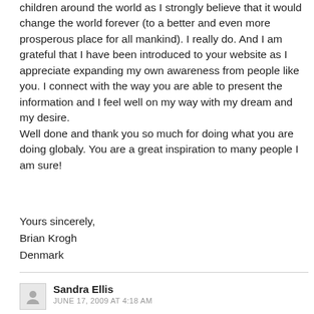children around the world as I strongly believe that it would change the world forever (to a better and even more prosperous place for all mankind). I really do. And I am grateful that I have been introduced to your website as I appreciate expanding my own awareness from people like you. I connect with the way you are able to present the information and I feel well on my way with my dream and my desire.
Well done and thank you so much for doing what you are doing globaly. You are a great inspiration to many people I am sure!
Yours sincerely,
Brian Krogh
Denmark
Sandra Ellis
JUNE 17, 2009 AT 4:18 AM